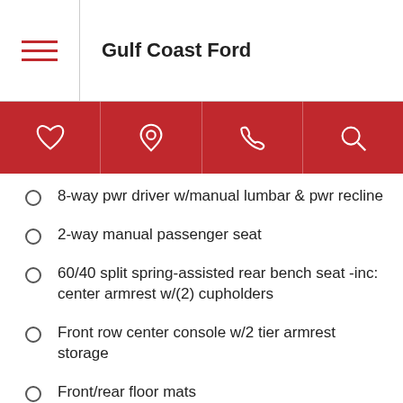Gulf Coast Ford
8-way pwr driver w/manual lumbar & pwr recline
2-way manual passenger seat
60/40 split spring-assisted rear bench seat -inc: center armrest w/(2) cupholders
Front row center console w/2 tier armrest storage
Front/rear floor mats
Tilt/telescopic steering wheel
Steering wheel-mounted audio & cruise controls
Instrument cluster -inc: message center w/trip computer